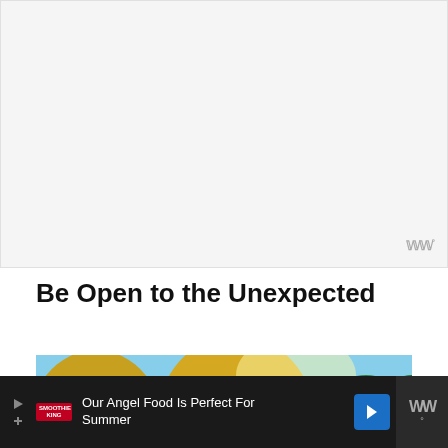[Figure (other): Advertisement placeholder banner area at top of page, light gray background]
Be Open to the Unexpected
[Figure (photo): Woman with arms outstretched from behind, wearing white top, standing in front of autumn trees with yellow and green foliage against a blue sky]
[Figure (other): Bottom advertisement banner: dark background with Smoothie King logo, text 'Our Angel Food Is Perfect For Summer', blue arrow button, and WW logo on right]